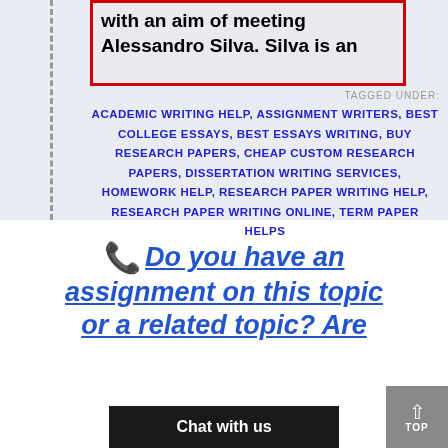with an aim of meeting
Alessandro Silva. Silva is an
TAGGED UNDER:
ACADEMIC WRITING HELP, ASSIGNMENT WRITERS, BEST COLLEGE ESSAYS, BEST ESSAYS WRITING, BUY RESEARCH PAPERS, CHEAP CUSTOM RESEARCH PAPERS, DISSERTATION WRITING SERVICES, HOMEWORK HELP, RESEARCH PAPER WRITING HELP, RESEARCH PAPER WRITING ONLINE, TERM PAPER HELPS
📞 Do you have an assignment on this topic or a related topic? Are
Chat with us